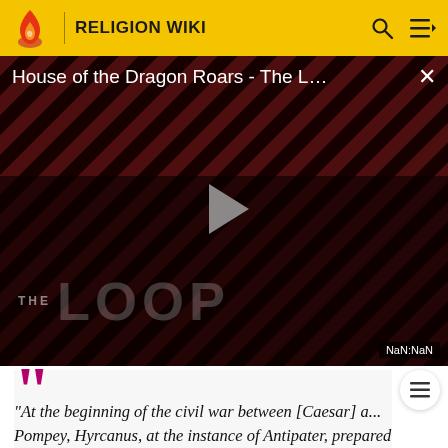RELIGION WIKI
[Figure (screenshot): Video player showing 'House of the Dragon Roars - The L...' with a play button overlay, two people visible in dark background, diagonal stripe pattern, THE LOOP text, and NaN:NaN timestamp badge]
"At the beginning of the civil war between [Caesar] a... Pompey, Hyrcanus, at the instance of Antipater, prepared to support the man to whom he owed his position; but when Pompey was murdered, Antipater